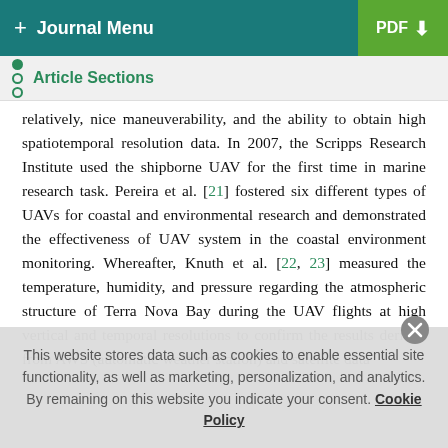+ Journal Menu | PDF
Article Sections
relatively, nice maneuverability, and the ability to obtain high spatiotemporal resolution data. In 2007, the Scripps Research Institute used the shipborne UAV for the first time in marine research task. Pereira et al. [21] fostered six different types of UAVs for coastal and environmental research and demonstrated the effectiveness of UAV system in the coastal environment monitoring. Whereafter, Knuth et al. [22, 23] measured the temperature, humidity, and pressure regarding the atmospheric structure of Terra Nova Bay during the UAV flights at high vertical and temporal resolutions to confirm the results derived from AWS (automatic weather station) and satellite data
This website stores data such as cookies to enable essential site functionality, as well as marketing, personalization, and analytics. By remaining on this website you indicate your consent. Cookie Policy